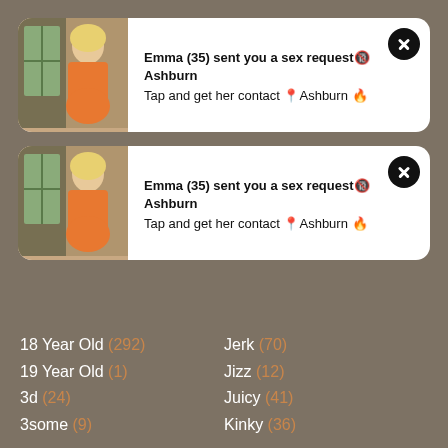[Figure (photo): Notification card 1 with photo of blonde woman in orange outfit and text about Emma (35) sex request from Ashburn]
Emma (35) sent you a sex request🔞 Ashburn
Tap and get her contact 📍Ashburn 🔥
[Figure (photo): Notification card 2 with photo of blonde woman in orange outfit and text about Emma (35) sex request from Ashburn]
Emma (35) sent you a sex request🔞 Ashburn
Tap and get her contact 📍Ashburn 🔥
18 Year Old (292)
19 Year Old (1)
3d (24)
3some (9)
Jerk (70)
Jizz (12)
Juicy (41)
Kinky (36)